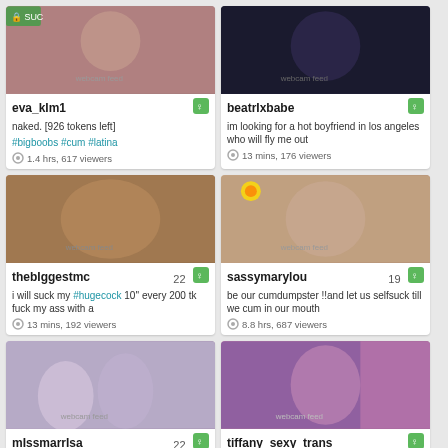[Figure (screenshot): Webcam thumbnail for eva_klm1]
eva_klm1
naked. [926 tokens left] #bigboobs #cum #latina
1.4 hrs, 617 viewers
[Figure (screenshot): Webcam thumbnail for beatrlxbabe]
beatrlxbabe
im looking for a hot boyfriend in los angeles who will fly me out
13 mins, 176 viewers
[Figure (screenshot): Webcam thumbnail for thebIggestmc]
thebIggestmc  22
i will suck my #hugecock 10'' every 200 tk fuck my ass with a
13 mins, 192 viewers
[Figure (screenshot): Webcam thumbnail for sassymarylou]
sassymarylou  19
be our cumdumpster !!and let us selfsuck till we cum in our mouth
8.8 hrs, 687 viewers
[Figure (screenshot): Webcam thumbnail for mlssmarrlsa]
mlssmarrlsa  22
[Figure (screenshot): Webcam thumbnail for tiffany_sexy_trans]
tiffany_sexy_trans